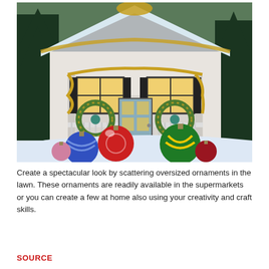[Figure (photo): A white house decorated for Christmas with garland, string lights, and wreaths on the porch. Large colorful oversized ornaments are scattered in the snow-covered lawn in front of the house.]
Create a spectacular look by scattering oversized ornaments in the lawn. These ornaments are readily available in the supermarkets or you can create a few at home also using your creativity and craft skills.
SOURCE